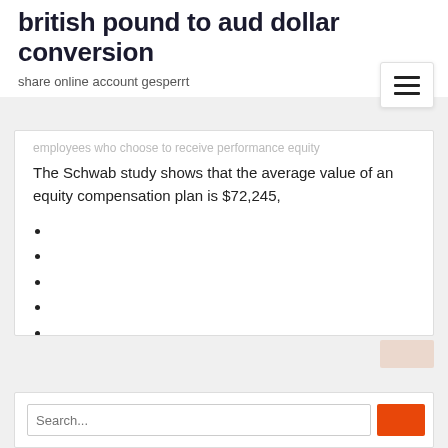british pound to aud dollar conversion
share online account gesperrt
The Schwab study shows that the average value of an equity compensation plan is $72,245,